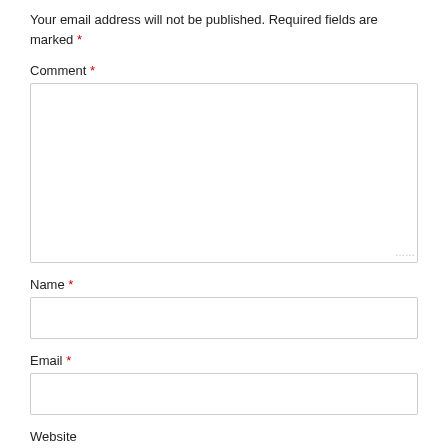Your email address will not be published. Required fields are marked *
Comment *
[Figure (other): Large textarea input box for comment]
Name *
[Figure (other): Single-line text input box for name]
Email *
[Figure (other): Single-line text input box for email]
Website
[Figure (other): Single-line text input box for website (partial, cut off at bottom)]